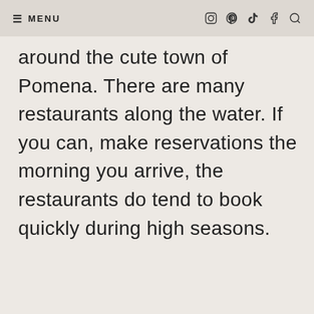≡ MENU
around the cute town of Pomena. There are many restaurants along the water. If you can, make reservations the morning you arrive, the restaurants do tend to book quickly during high seasons.